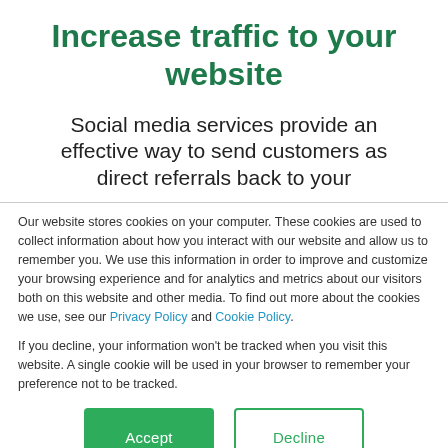Increase traffic to your website
Social media services provide an effective way to send customers as direct referrals back to your
Our website stores cookies on your computer. These cookies are used to collect information about how you interact with our website and allow us to remember you. We use this information in order to improve and customize your browsing experience and for analytics and metrics about our visitors both on this website and other media. To find out more about the cookies we use, see our Privacy Policy and Cookie Policy.
If you decline, your information won’t be tracked when you visit this website. A single cookie will be used in your browser to remember your preference not to be tracked.
Accept
Decline